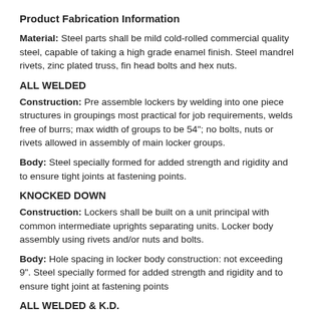Product Fabrication Information
Material: Steel parts shall be mild cold-rolled commercial quality steel, capable of taking a high grade enamel finish. Steel mandrel rivets, zinc plated truss, fin head bolts and hex nuts.
ALL WELDED
Construction: Pre assemble lockers by welding into one piece structures in groupings most practical for job requirements, welds free of burrs; max width of groups to be 54"; no bolts, nuts or rivets allowed in assembly of main locker groups.
Body: Steel specially formed for added strength and rigidity and to ensure tight joints at fastening points.
KNOCKED DOWN
Construction: Lockers shall be built on a unit principal with common intermediate uprights separating units. Locker body assembly using rivets and/or nuts and bolts.
Body: Hole spacing in locker body construction: not exceeding 9". Steel specially formed for added strength and rigidity and to ensure tight joint at fastening points
ALL WELDED & K.D.